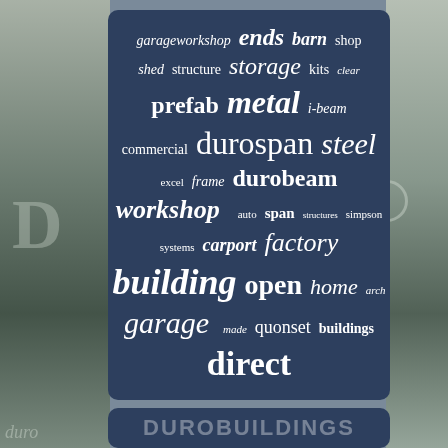[Figure (infographic): Word cloud on dark navy blue background showing terms related to metal buildings and steel structures. Words include: garageworkshop, ends, barn, shop, shed, structure, storage, kits, clear, prefab, metal, i-beam, commercial, durospan, steel, excel, frame, durobeam, workshop, auto, span, structures, simpson, systems, carport, factory, building, open, home, arch, garage, made, quonset, buildings, direct. Set against a photographic background of residential buildings.]